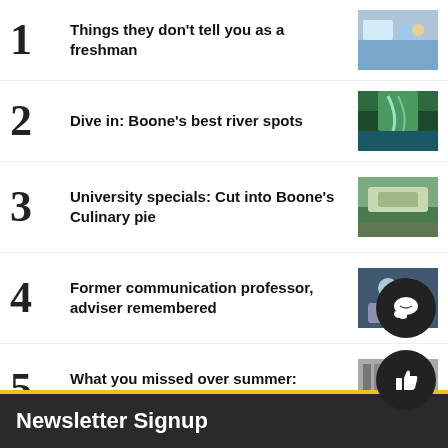1 Things they don't tell you as a freshman
2 Dive in: Boone's best river spots
3 University specials: Cut into Boone's Culinary pie
4 Former communication professor, adviser remembered
5 What you missed over summer: Downtown edition
Newsletter Signup